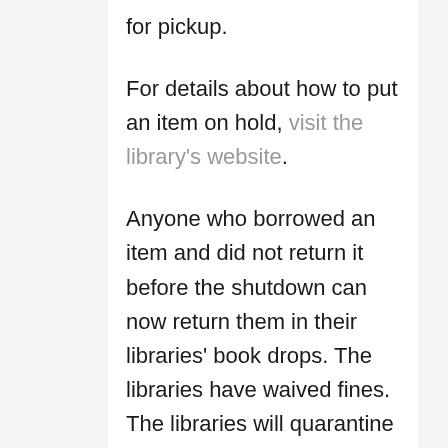for pickup.
For details about how to put an item on hold, visit the library's website.
Anyone who borrowed an item and did not return it before the shutdown can now return them in their libraries' book drops. The libraries have waived fines. The libraries will quarantine returned items for 72 hours to follow